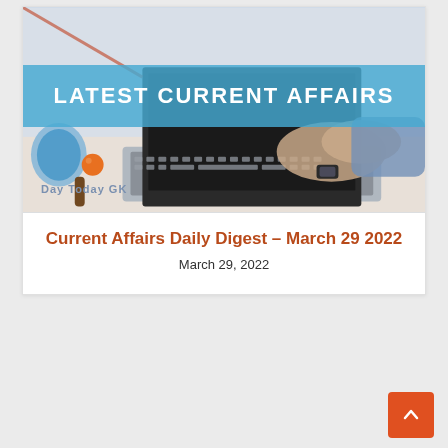[Figure (photo): Photo of a person typing on a laptop with a ping pong paddle and orange ball visible on the left, overlaid with a blue semi-transparent banner reading 'LATEST CURRENT AFFAIRS' and a 'Day Today GK' brand label at bottom-left]
Current Affairs Daily Digest – March 29 2022
March 29, 2022